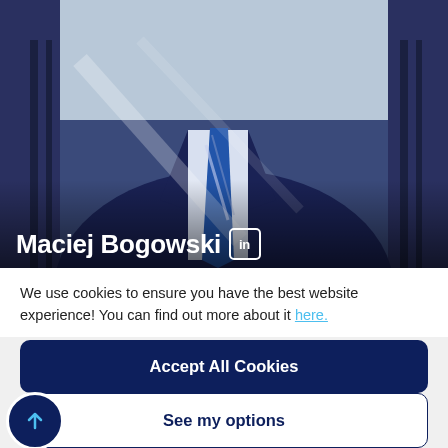[Figure (photo): A man in a navy blue suit with a blue tie, photographed from the torso up in an outdoor or urban setting with sunlight creating diagonal reflections on the jacket.]
Maciej Bogowski [LinkedIn icon]
We use cookies to ensure you have the best website experience! You can find out more about it here.
Accept All Cookies
See my options